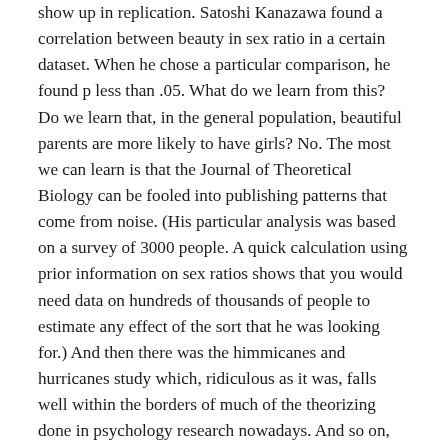show up in replication. Satoshi Kanazawa found a correlation between beauty in sex ratio in a certain dataset. When he chose a particular comparison, he found p less than .05. What do we learn from this? Do we learn that, in the general population, beautiful parents are more likely to have girls? No. The most we can learn is that the Journal of Theoretical Biology can be fooled into publishing patterns that come from noise. (His particular analysis was based on a survey of 3000 people. A quick calculation using prior information on sex ratios shows that you would need data on hundreds of thousands of people to estimate any effect of the sort that he was looking for.) And then there was the himmicanes and hurricanes study which, ridiculous as it was, falls well within the borders of much of the theorizing done in psychology research nowadays. And so on, and so on, and so on.
We could let Barrett off the hook on the last quote above because she does qualify her statement with, “If the studies were